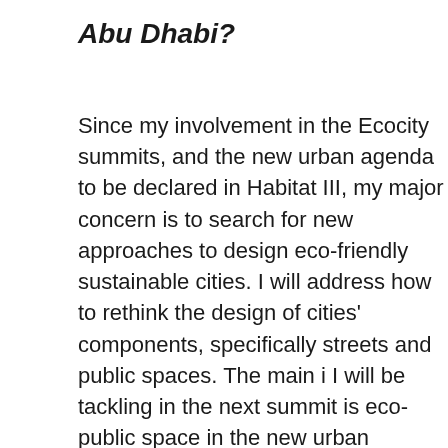Abu Dhabi?
Since my involvement in the Ecocity summits, and the new urban agenda to be declared in Habitat III, my major concern is to search for new approaches to design eco-friendly sustainable cities. I will address how to rethink the design of cities' components, specifically streets and public spaces. The main issue I will be tackling in the next summit is eco-public space in the new urban agenda with special focus on developing countries and the paradigm shift that must take place to produce eco-spaces, stressing the role Public spaces can play in stabilizing the collective identity,and re-injecting social inclusiveness in cities. The major question that I will raise is related to culture versus public space des...